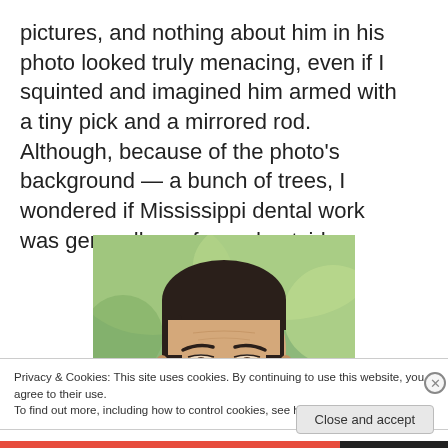pictures, and nothing about him in his photo looked truly menacing, even if I squinted and imagined him armed with a tiny pick and a mirrored rod.  Although, because of the photo's background — a bunch of trees, I wondered if Mississippi dental work was generally performed outside:
[Figure (photo): A man's face photographed outdoors with a blurred green tree background. The man has dark hair and appears to be frowning or looking seriously at the camera.]
Privacy & Cookies: This site uses cookies. By continuing to use this website, you agree to their use.
To find out more, including how to control cookies, see here: Cookie Policy